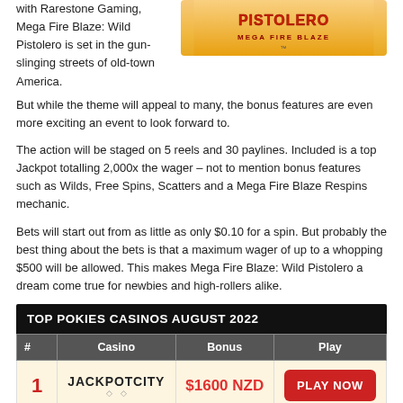with Rarestone Gaming, Mega Fire Blaze: Wild Pistolero is set in the gun-slinging streets of old-town America. But while the theme will appeal to many, the bonus features are even more exciting an event to look forward to.
[Figure (illustration): Game logo image for Mega Fire Blaze: Wild Pistolero on an orange/yellow gradient background]
The action will be staged on 5 reels and 30 paylines. Included is a top Jackpot totalling 2,000x the wager – not to mention bonus features such as Wilds, Free Spins, Scatters and a Mega Fire Blaze Respins mechanic.
Bets will start out from as little as only $0.10 for a spin. But probably the best thing about the bets is that a maximum wager of up to a whopping $500 will be allowed. This makes Mega Fire Blaze: Wild Pistolero a dream come true for newbies and high-rollers alike.
| # | Casino | Bonus | Play |
| --- | --- | --- | --- |
| 1 | JACKPOTCITY | $1600 NZD | PLAY NOW |